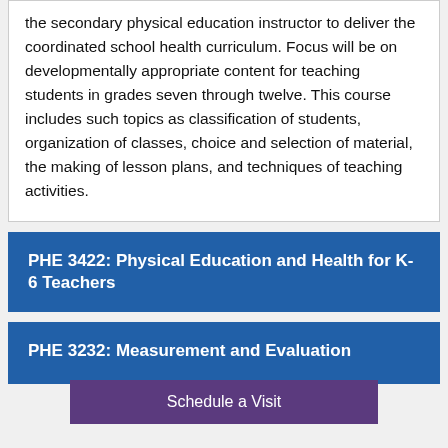the secondary physical education instructor to deliver the coordinated school health curriculum. Focus will be on developmentally appropriate content for teaching students in grades seven through twelve. This course includes such topics as classification of students, organization of classes, choice and selection of material, the making of lesson plans, and techniques of teaching activities.
PHE 3422: Physical Education and Health for K-6 Teachers
PHE 3232: Measurement and Evaluation
Schedule a Visit